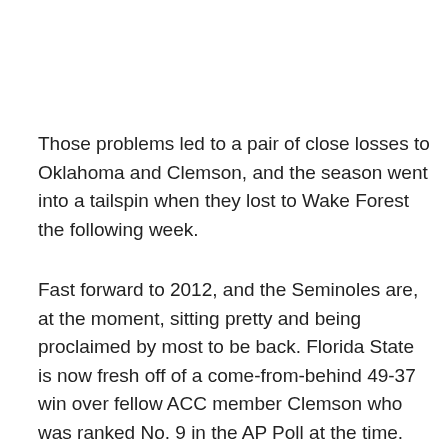Those problems led to a pair of close losses to Oklahoma and Clemson, and the season went into a tailspin when they lost to Wake Forest the following week.
Fast forward to 2012, and the Seminoles are, at the moment, sitting pretty and being proclaimed by most to be back. Florida State is now fresh off of a come-from-behind 49-37 win over fellow ACC member Clemson who was ranked No. 9 in the AP Poll at the time.
Seminoles head coach Jimbo Fisher uttered the phrase, "what a difference a year makes," a few weeks ago. That reference could mean a lot of things, ranging from Florida State's 4-0 start and being placed